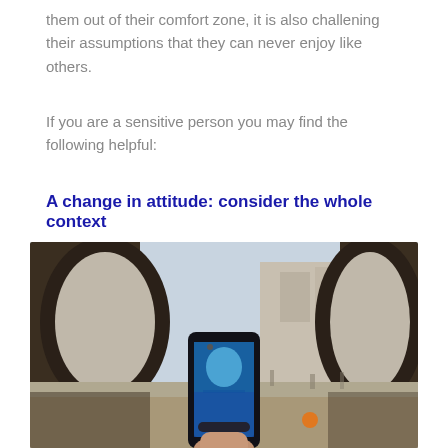them out of their comfort zone, it is also challening their assumptions that they can never enjoy like others.
If you are a sensitive person you may find the following helpful:
A change in attitude: consider the whole context
[Figure (photo): A person holding a smartphone up to photograph a European city street scene through an arched stone gateway. The phone screen shows a canal or river view. The background shows buildings, people, and a bright sky.]